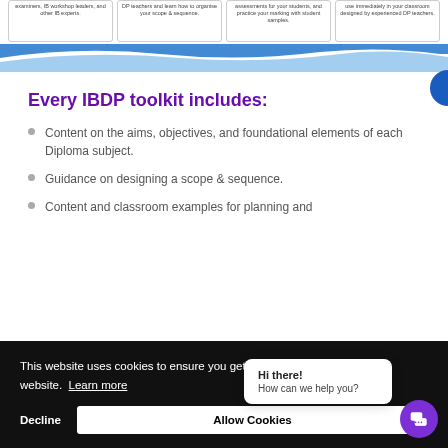[Figure (other): Four small card panels at top showing brief text about IB workshop leaders, scope and sequence, assessments and student samples, and classroom-designed resources by DP teachers.]
[Figure (illustration): Blue wave/arc decorative divider across the page width]
Every IBDP toolkit includes:
Content on the aims, objectives, and foundational elements of each Diploma subject.
Guidance on designing a scope & sequence.
Content and classroom examples for planning and
This website uses cookies to ensure you get the best experience on our website. Learn more
Decline
Allow Cookies
Hi there!
How can we help you?